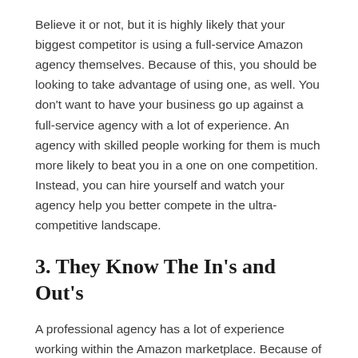Believe it or not, but it is highly likely that your biggest competitor is using a full-service Amazon agency themselves. Because of this, you should be looking to take advantage of using one, as well. You don't want to have your business go up against a full-service agency with a lot of experience. An agency with skilled people working for them is much more likely to beat you in a one on one competition. Instead, you can hire yourself and watch your agency help you better compete in the ultra-competitive landscape.
3. They Know The In's and Out's
A professional agency has a lot of experience working within the Amazon marketplace. Because of this, they know what works and what doesn't. They know the in's and out's of the marketplace and how to leverage the advantages that it offers. They will be able to better